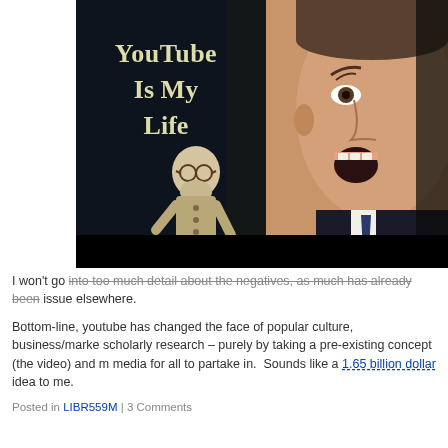[Figure (screenshot): A video thumbnail showing the text 'YouTube Is My Life' in stylized serif font on a dark background, with a puppet figure resembling Sigmund Freud and a man in a suit with an open mouth expression on the right side.]
I won't go into too much detail about the negatives, as much has already been issue elsewhere.
Bottom-line, youtube has changed the face of popular culture, business/marke scholarly research – purely by taking a pre-existing concept (the video) and m media for all to partake in. Sounds like a 1.65 billion dollar idea to me.
Posted in LIBR559M | 3 Comments